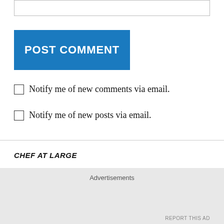[Figure (other): Empty text input box at top of page]
POST COMMENT
Notify me of new comments via email.
Notify me of new posts via email.
CHEF AT LARGE
[Figure (other): CAL Badge image link with broken image icon followed by text 'CAL Badge']
Advertisements
REPORT THIS AD